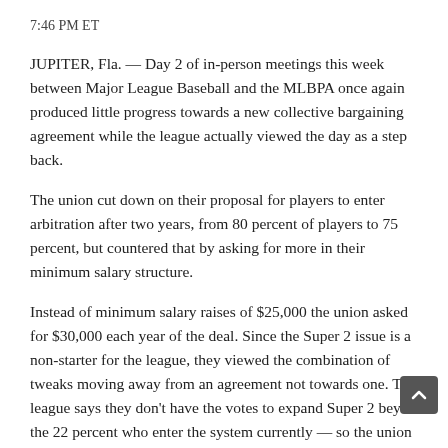7:46 PM ET
JUPITER, Fla. — Day 2 of in-person meetings this week between Major League Baseball and the MLBPA once again produced little progress towards a new collective bargaining agreement while the league actually viewed the day as a step back.
The union cut down on their proposal for players to enter arbitration after two years, from 80 percent of players to 75 percent, but countered that by asking for more in their minimum salary structure.
Instead of minimum salary raises of $25,000 the union asked for $30,000 each year of the deal. Since the Super 2 issue is a non-starter for the league, they viewed the combination of tweaks moving away from an agreement not towards one. The league says they don't have the votes to expand Super 2 beyond the 22 percent who enter the system currently — so the union can ask for any amount above that but they won't get it.
Talks once again took place at Roger Dean Stadium where the St. Louis Cardinals and Miami Marlins train.